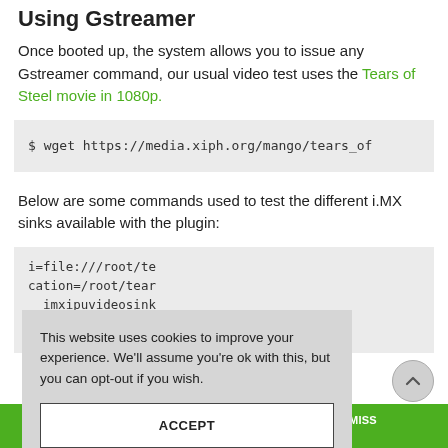Using Gstreamer
Once booted up, the system allows you to issue any Gstreamer command, our usual video test uses the Tears of Steel movie in 1080p.
$ wget https://media.xiph.org/mango/tears_of
Below are some commands used to test the different i.MX sinks available with the plugin:
i=file:///root/te
cation=/root/tear
imxipuvideosink
cation=/root/tear
This website uses cookies to improve your experience. We'll assume you're ok with this, but you can opt-out if you wish.
ACCEPT
e website is inaccurate. Contact us for availability. DISMISS